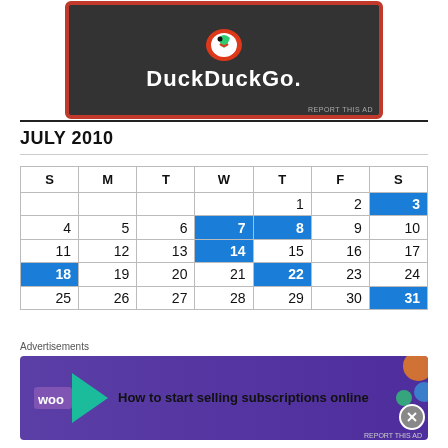[Figure (screenshot): DuckDuckGo advertisement banner with dark background, red/orange border, duck logo and white DuckDuckGo. text]
JULY 2010
| S | M | T | W | T | F | S |
| --- | --- | --- | --- | --- | --- | --- |
|  |  |  |  | 1 | 2 | 3 |
| 4 | 5 | 6 | 7 | 8 | 9 | 10 |
| 11 | 12 | 13 | 14 | 15 | 16 | 17 |
| 18 | 19 | 20 | 21 | 22 | 23 | 24 |
| 25 | 26 | 27 | 28 | 29 | 30 | 31 |
[Figure (screenshot): WooCommerce advertisement: How to start selling subscriptions online]
Advertisements